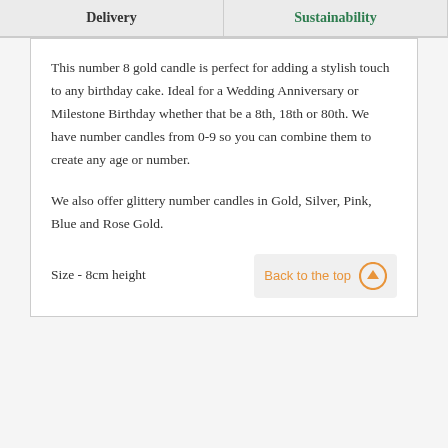Delivery
Sustainability
This number 8 gold candle is perfect for adding a stylish touch to any birthday cake. Ideal for a Wedding Anniversary or Milestone Birthday whether that be a 8th, 18th or 80th. We have number candles from 0-9 so you can combine them to create any age or number.
We also offer glittery number candles in Gold, Silver, Pink, Blue and Rose Gold.
Size - 8cm height